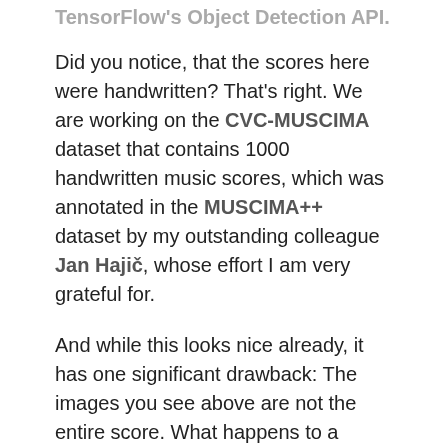TensorFlow's Object Detection API.
Did you notice, that the scores here were handwritten? That's right. We are working on the CVC-MUSCIMA dataset that contains 1000 handwritten music scores, which was annotated in the MUSCIMA++ dataset by my outstanding colleague Jan Hajič, whose effort I am very grateful for.
And while this looks nice already, it has one significant drawback: The images you see above are not the entire score. What happens to a symbol that is bigger than image section? Well, it is not detected at the moment. But I wouldn't mention it here if that was the end of the line. In fact, I've been working on detecting symbols in the full image already, and the first results are very promising: